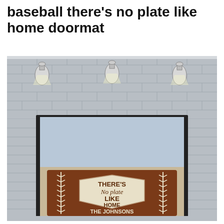baseball there's no plate like home doormat
[Figure (photo): Product photo of a baseball-themed personalized doormat displayed in a doorway setting. The doormat is brown with baseball stitch designs on the sides and features a home plate shape in the center with text: THERE'S No plate LIKE HOME. Below the home plate reads THE JOHNSONS. The setting shows a gray brick wall background with three spotlights on the ceiling above a dark-framed door.]